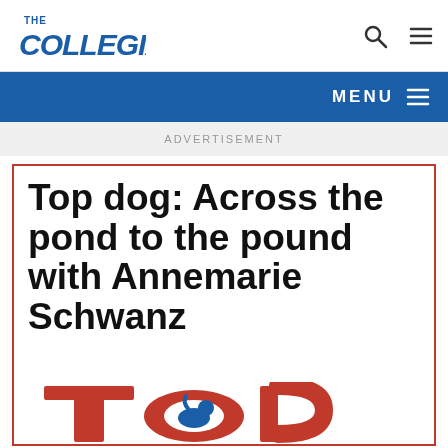The Collegian
MENU
ADVERTISEMENT
Top dog: Across the pond to the pound with Annemarie Schwanz